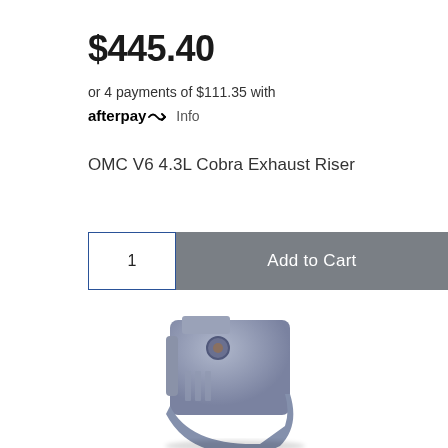$445.40
or 4 payments of $111.35 with afterpay Info
OMC V6 4.3L Cobra Exhaust Riser
[Figure (screenshot): Add to Cart button with quantity selector showing '1' and a gray 'Add to Cart' button]
[Figure (photo): Blue-gray metal exhaust riser part (OMC V6 4.3L Cobra Exhaust Riser) shown partially, viewed from the side]